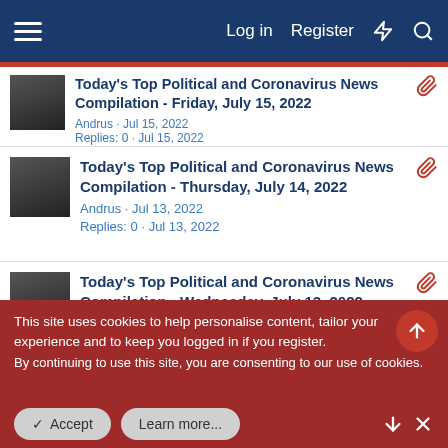Log in  Register
Today's Top Political and Coronavirus News Compilation - Friday, July 15, 2022
Andrus · Jul 15, 2022
Replies: 0 · Jul 15, 2022
Today's Top Political and Coronavirus News Compilation - Thursday, July 14, 2022
Andrus · Jul 13, 2022
Replies: 0 · Jul 13, 2022
Today's Top Political and Coronavirus News Compilation - Wednesday, July 13, 2022
Andrus · Jul 12, 2022
Replies: 0 · Jul 12, 2022
This site uses cookies to help personalise content, tailor your experience and to keep you logged in if you register.
By continuing to use this site, you are consenting to our use of cookies.